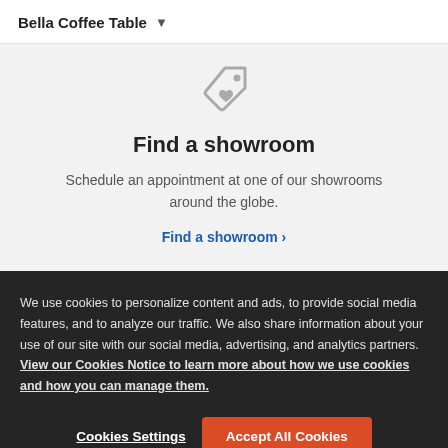Bella Coffee Table ▾
Find a showroom
Schedule an appointment at one of our showrooms around the globe.
Find a showroom ›
We use cookies to personalize content and ads, to provide social media features, and to analyze our traffic. We also share information about your use of our site with our social media, advertising, and analytics partners. View our Cookies Notice to learn more about how we use cookies and how you can manage them.
Cookies Settings
Accept All Cookies